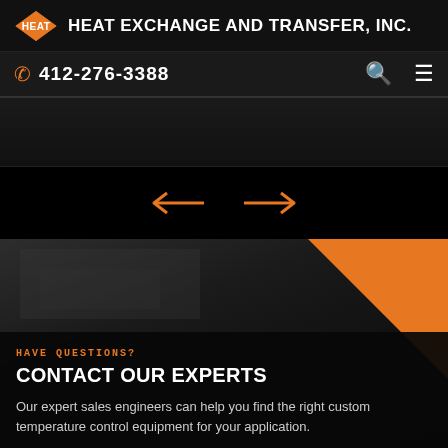HEAT EXCHANGE AND TRANSFER, INC.
412-276-3388
[Figure (screenshot): Carousel/slider content area — dark background with partially visible industrial content]
[Figure (infographic): Navigation arrows (left and right) in orange on black background]
[Figure (photo): Industrial equipment background photo with orange geometric accent in top-right corner]
HAVE QUESTIONS?
CONTACT OUR EXPERTS
Our expert sales engineers can help you find the right custom temperature control equipment for your application.